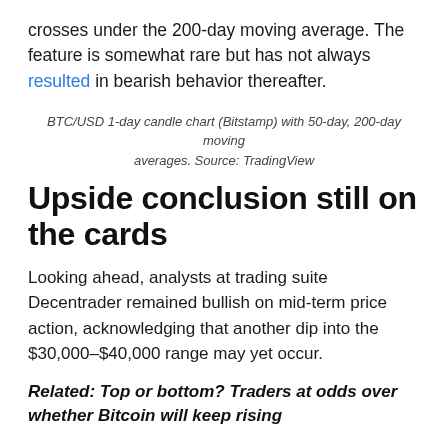crosses under the 200-day moving average. The feature is somewhat rare but has not always resulted in bearish behavior thereafter.
BTC/USD 1-day candle chart (Bitstamp) with 50-day, 200-day moving averages. Source: TradingView
Upside conclusion still on the cards
Looking ahead, analysts at trading suite Decentrader remained bullish on mid-term price action, acknowledging that another dip into the $30,000–$40,000 range may yet occur.
Related: Top or bottom? Traders at odds over whether Bitcoin will keep rising